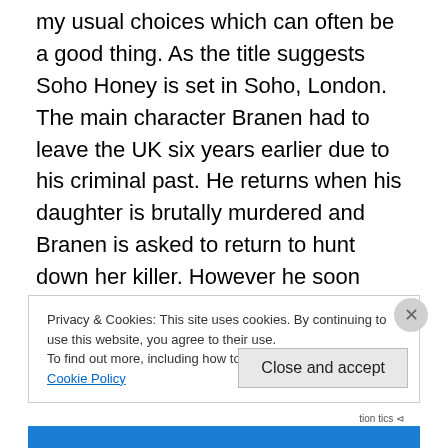my usual choices which can often be a good thing. As the title suggests Soho Honey is set in Soho, London. The main character Branen had to leave the UK six years earlier due to his criminal past. He returns when his daughter is brutally murdered and Branen is asked to return to hunt down her killer. However he soon realises that unless he wants to spend the rest of his life running he will have to face up to his past.

I must admit to being slightly overwhelmed by the start of this novel. The book begins with a long list of names of
Privacy & Cookies: This site uses cookies. By continuing to use this website, you agree to their use.
To find out more, including how to control cookies, see here: Cookie Policy
Close and accept